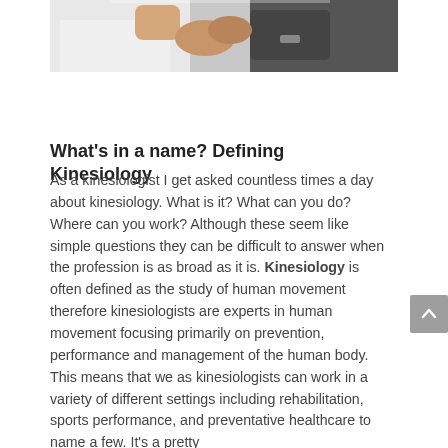[Figure (photo): Partial view of two people, one in white shirt and one in dark shirt, appearing to shake hands or interact physically — cropped photo showing arms and hands]
What's in a name? Defining Kinesiology
As a kinesiologist I get asked countless times a day about kinesiology. What is it? What can you do? Where can you work? Although these seem like simple questions they can be difficult to answer when the profession is as broad as it is. Kinesiology is often defined as the study of human movement therefore kinesiologists are experts in human movement focusing primarily on prevention, performance and management of the human body. This means that we as kinesiologists can work in a variety of different settings including rehabilitation, sports performance, and preventative healthcare to name a few. It's a pretty